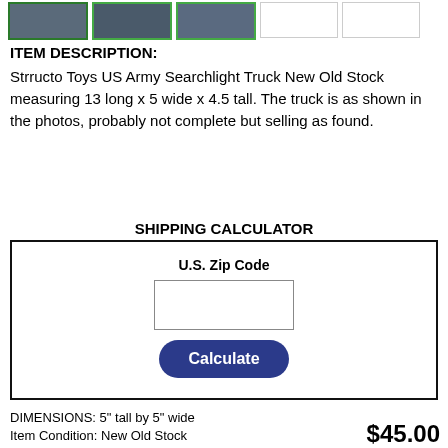[Figure (photo): Row of 5 thumbnail images of a toy army truck. First three show the truck from different angles (dark/blue tones), last two are empty/white placeholders. First thumbnail has a green border indicating selection.]
ITEM DESCRIPTION:
Strructo Toys US Army Searchlight Truck New Old Stock measuring 13 long x 5 wide x 4.5 tall. The truck is as shown in the photos, probably not complete but selling as found.
SHIPPING CALCULATOR
U.S. Zip Code
Calculate
DIMENSIONS: 5" tall by 5" wide
Item Condition: New Old Stock
$45.00